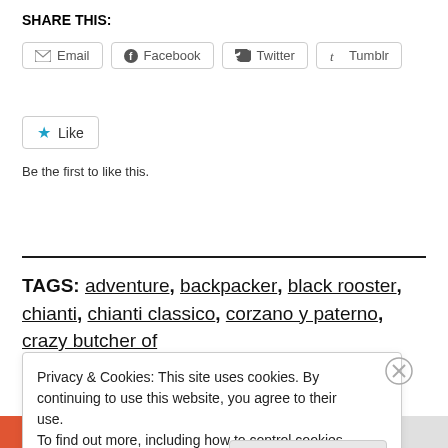SHARE THIS:
Email  Facebook  Twitter  Tumblr
[Figure (other): Like button with star icon]
Be the first to like this.
TAGS: adventure, backpacker, black rooster, chianti, chianti classico, corzano y paterno, crazy butcher of
Privacy & Cookies: This site uses cookies. By continuing to use this website, you agree to their use. To find out more, including how to control cookies, see here: Cookie Policy
Close and accept